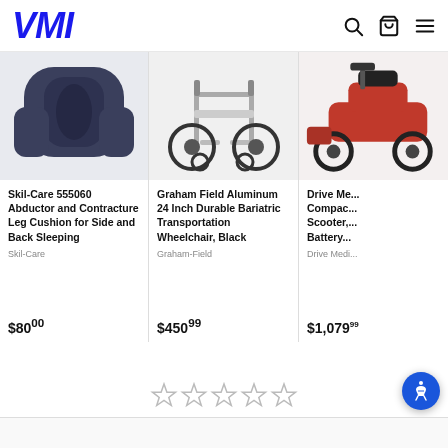VMI
[Figure (photo): Product image of Skil-Care 555060 Abductor and Contracture Leg Cushion for Side and Back Sleeping - dark blue cushion]
Skil-Care 555060 Abductor and Contracture Leg Cushion for Side and Back Sleeping
Skil-Care
$80.00
[Figure (photo): Product image of Graham Field Aluminum 24 Inch Durable Bariatric Transportation Wheelchair, Black]
Graham Field Aluminum 24 Inch Durable Bariatric Transportation Wheelchair, Black
Graham-Field
$450.99
[Figure (photo): Product image of Drive Medical Compact Scooter with Battery - red scooter partially cropped]
Drive Me... Compac... Scooter,... Battery...
Drive Medi...
$1,079...
[Figure (other): Five empty star rating icons]